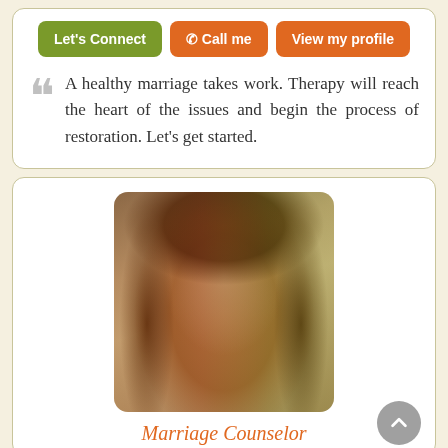[Figure (other): Three buttons in a row: green 'Let's Connect' button, orange 'Call me' button with phone icon, and orange 'View my profile' button]
A healthy marriage takes work. Therapy will reach the heart of the issues and begin the process of restoration. Let's get started.
[Figure (photo): Professional headshot photo of a smiling woman with long reddish-brown hair, wearing dangling earrings, with a blurred brick wall and green background]
Marriage Counselor